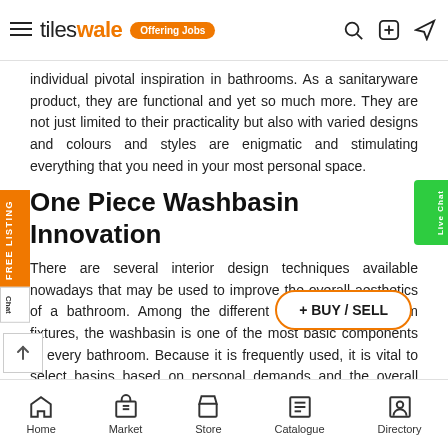tileswale — Offering Jobs
individual pivotal inspiration in bathrooms. As a sanitaryware product, they are functional and yet so much more. They are not just limited to their practicality but also with varied designs and colours and styles are enigmatic and stimulating everything that you need in your most personal space.
One Piece Washbasin Innovation
There are several interior design techniques available nowadays that may be used to improve the overall aesthetics of a bathroom. Among the different varieties of bathroom fixtures, the washbasin is one of the most basic components of every bathroom. Because it is frequently used, it is vital to select basins based on personal demands and the overall artistic architecture of the shower. There are varieties of basins available nowadays that may be incorporated into a
Home | Market | Store | Catalogue | Directory